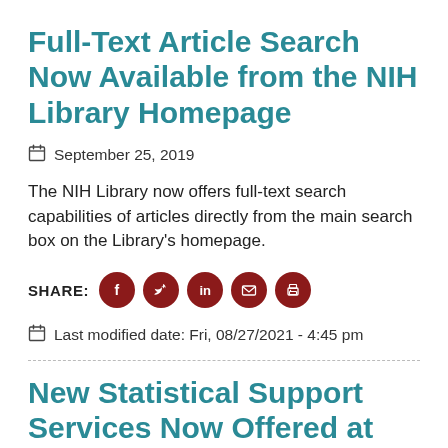Full-Text Article Search Now Available from the NIH Library Homepage
September 25, 2019
The NIH Library now offers full-text search capabilities of articles directly from the main search box on the Library's homepage.
SHARE:
Last modified date: Fri, 08/27/2021 - 4:45 pm
New Statistical Support Services Now Offered at the NIH Library